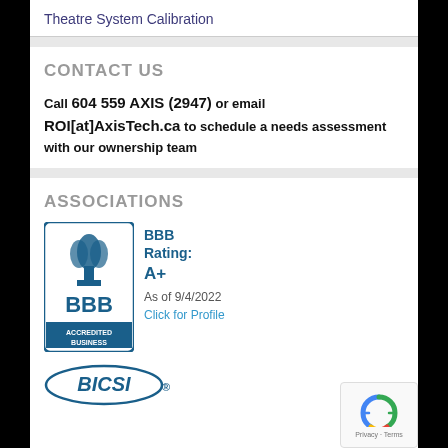Theatre System Calibration
CONTACT US
Call 604 559 AXIS (2947) or email ROI[at]AxisTech.ca to schedule a needs assessment with our ownership team
ASSOCIATIONS
[Figure (logo): BBB Accredited Business badge with BBB Rating A+ as of 9/4/2022, Click for Profile]
[Figure (logo): BICSI logo partial]